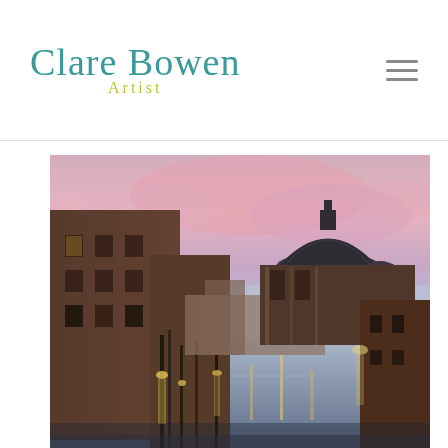[Figure (logo): Clare Bowen Artist logo — cursive teal text 'Clare Bowen' with yellow-green 'Artist' subtitle]
[Figure (photo): Oil painting of Venice Grand Canal at sunset/dusk with pink and purple sky, silhouette of Santa Maria della Salute dome on the right, buildings and gondola reflections on the water]